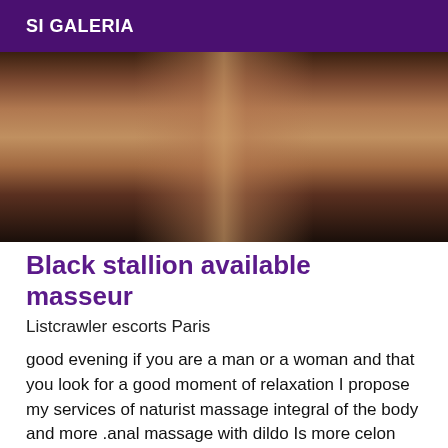SI GALERIA
[Figure (photo): Blurry dark indoor photo with warm brown and amber tones, appears to show a dimly lit room]
Black stallion available masseur
Listcrawler escorts Paris
good evening if you are a man or a woman and that you look for a good moment of relaxation I propose my services of naturist massage integral of the body and more .anal massage with dildo Is more celon your desires and desires I am active andurant I move at your home or has your hotel sauna or other studies all other proposal for more info I invite you to join me therefore